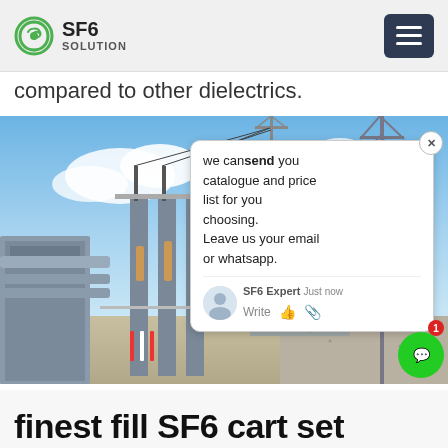SF6 SOLUTION
compared to other dielectrics.
[Figure (photo): Outdoor electrical substation with SF6 gas-insulated equipment, transformers, high-voltage insulators and transmission towers visible against a blue sky. A chat popup overlay is visible in the lower right of the image with the message: we can send you catalogue and price list for you choosing. Leave us your email or whatsapp. SF6 Expert, just now.]
finest fill SF6 cart set